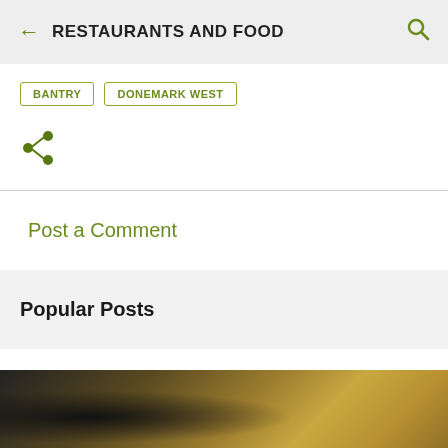RESTAURANTS AND FOOD
BANTRY
DONEMARK WEST
[Figure (illustration): Share icon (three connected circles with lines)]
Post a Comment
Popular Posts
[Figure (photo): Partial photo of a wooden surface or food item, dark on left fading to warm brown tones]